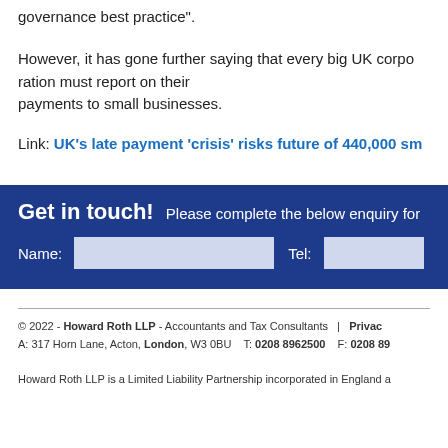governance best practice".
However, it has gone further saying that every big UK corpo payments to small businesses.
Link: UK’s late payment ‘crisis’ risks future of 440,000 sm
Get in touch!  Please complete the below enquiry for
Name:   Tel:
© 2022 - Howard Roth LLP - Accountants and Tax Consultants | Privac A: 317 Horn Lane, Acton, London, W3 0BU  T: 0208 8962500  F: 0208 89 Howard Roth LLP is a Limited Liability Partnership incorporated in England a